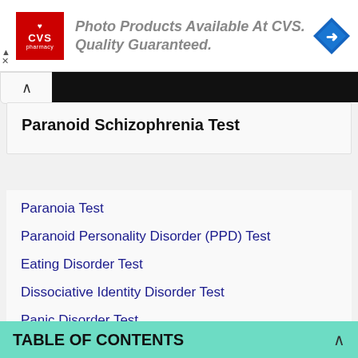[Figure (advertisement): CVS Pharmacy ad banner with red CVS logo, italic gray text 'Photo Products Available At CVS. Quality Guaranteed.' and blue diamond arrow icon]
Paranoid Schizophrenia Test
Paranoia Test
Paranoid Personality Disorder (PPD) Test
Eating Disorder Test
Dissociative Identity Disorder Test
Panic Disorder Test
Extraversion And Introversion Test
Gaslighting Test
TABLE OF CONTENTS